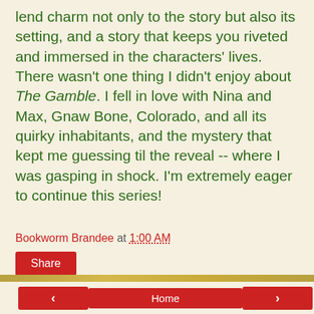lend charm not only to the story but also its setting, and a story that keeps you riveted and immersed in the characters' lives. There wasn't one thing I didn't enjoy about The Gamble. I fell in love with Nina and Max, Gnaw Bone, Colorado, and all its quirky inhabitants, and the mystery that kept me guessing til the reveal -- where I was gasping in shock. I'm extremely eager to continue this series!
Bookworm Brandee at 1:00 AM
Share
‹  Home  ›